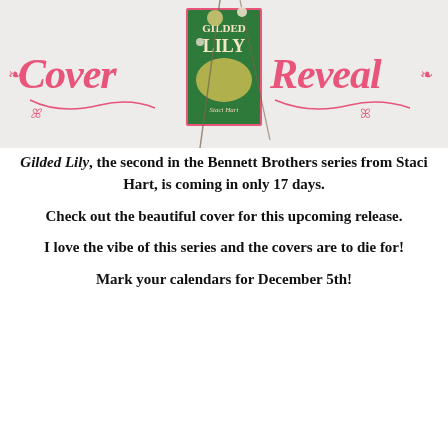[Figure (illustration): Cover Reveal banner image showing the book 'Gilded Lily' by Staci Hart with decorative floral/dried flower arrangement. The words 'Cover' and 'Reveal' are displayed in pink decorative script lettering on either side of the book.]
Gilded Lily, the second in the Bennett Brothers series from Staci Hart, is coming in only 17 days.
Check out the beautiful cover for this upcoming release.
I love the vibe of this series and the covers are to die for!
Mark your calendars for December 5th!